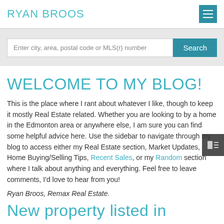RYAN BROOS
Enter city, area, postal code or MLS(r) number
WELCOME TO MY BLOG!
This is the place where I rant about whatever I like, though to keep it mostly Real Estate related. Whether you are looking to by a home in the Edmonton area or anywhere else, I am sure you can find some helpful advice here. Use the sidebar to navigate through my blog to access either my Real Estate section, Market Updates, Home Buying/Selling Tips, Recent Sales, or my Random section where I talk about anything and everything. Feel free to leave comments, I'd love to hear from you!
Ryan Broos, Remax Real Estate.
New property listed in